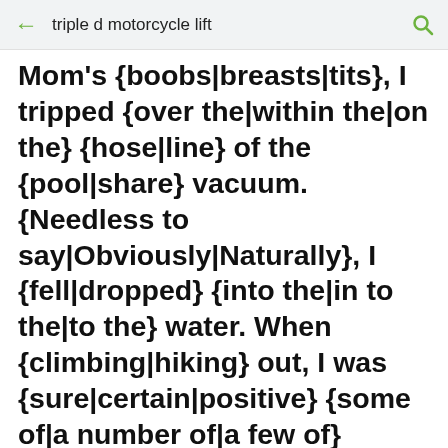triple d motorcycle lift
Mom's {boobs|breasts|tits}, I tripped {over the|within the|on the} {hose|line} of the {pool|share} vacuum. {Needless to say|Obviously|Naturally}, I {fell|dropped} {into the|in to the|to the} water. When {climbing|hiking} out, I was {sure|certain|positive} {some of|a number of|a few of} Mom's {laughter|fun} was at my expense. My trunks were plastered to my {body|human anatomy|human body} and my {Mom|Mother} {inspired|influenced|encouraged}